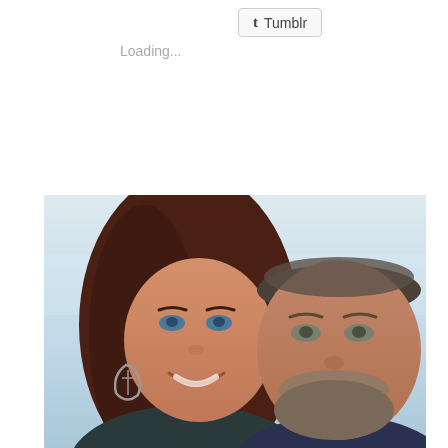[Figure (other): Tumblr share button with 't' logo icon]
Loading...
[Figure (photo): Selfie photo of a smiling woman with brown hair and blue eyes wearing leaf-shaped earrings, and a bearded man, taken outdoors with a light sky background]